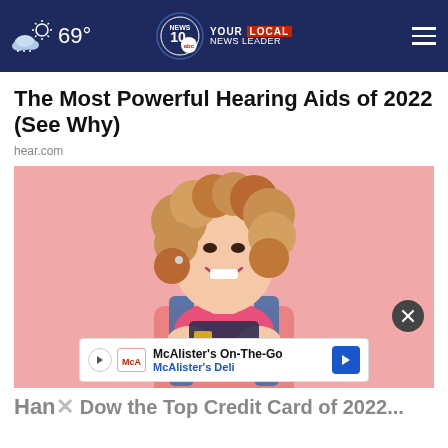69° — NEWS 10 YOUR LOCAL NEWS LEADER
The Most Powerful Hearing Aids of 2022 (See Why)
hear.com
[Figure (photo): Smiling young woman with curly hair holding a credit card against a pink background]
McAlister's On-The-Go McAlister's Deli
Han...